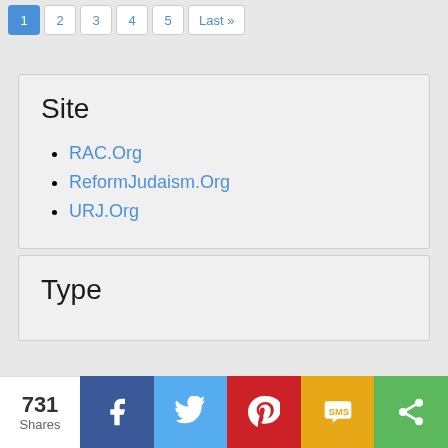1 2 3 4 5 Last »
Site
RAC.Org
ReformJudaism.Org
URJ.Org
Type
731 Shares — Facebook, Twitter, Pinterest, SMS, Share